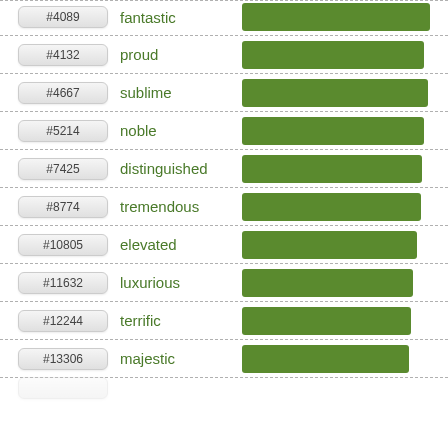[Figure (bar-chart): Word frequency rankings]